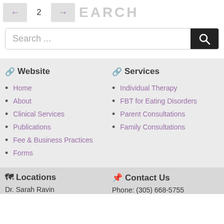[Figure (screenshot): Pagination control with left arrow, number 2, right arrow, and partial SEARCH heading with decorative lines]
[Figure (screenshot): Search input box with 'Search ...' placeholder and black search button with magnifying glass icon]
Website
Home
About
Clinical Services
Publications
Fee & Business Practices
Forms
Services
Individual Therapy
FBT for Eating Disorders
Parent Consultations
Family Consultations
Locations
Dr. Sarah Ravin
Contact Us
Phone: (305) 668-5755